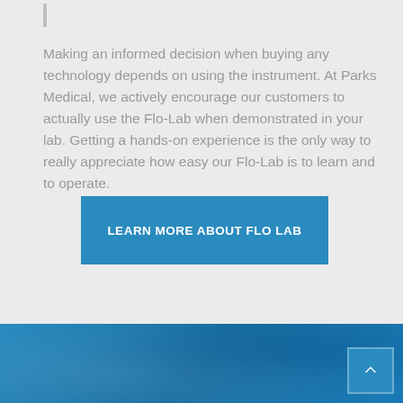Making an informed decision when buying any technology depends on using the instrument. At Parks Medical, we actively encourage our customers to actually use the Flo-Lab when demonstrated in your lab. Getting a hands-on experience is the only way to really appreciate how easy our Flo-Lab is to learn and to operate.
[Figure (other): Blue call-to-action button with text LEARN MORE ABOUT FLO LAB]